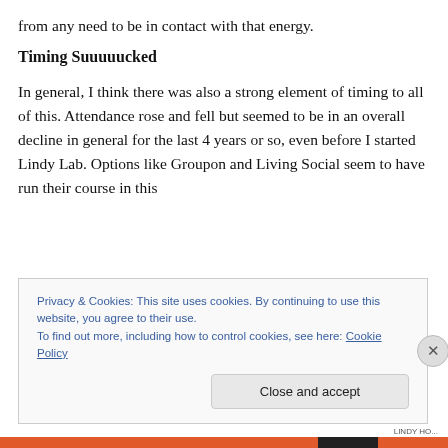from any need to be in contact with that energy.
Timing Suuuuucked
In general, I think there was also a strong element of timing to all of this. Attendance rose and fell but seemed to be in an overall decline in general for the last 4 years or so, even before I started Lindy Lab. Options like Groupon and Living Social seem to have run their course in this
Privacy & Cookies: This site uses cookies. By continuing to use this website, you agree to their use.
To find out more, including how to control cookies, see here: Cookie Policy
Close and accept